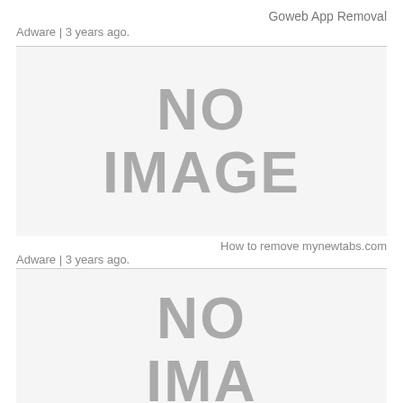Goweb App Removal
Adware | 3 years ago.
[Figure (other): No image placeholder for Goweb App Removal article]
How to remove mynewtabs.com
Adware | 3 years ago.
[Figure (other): No image placeholder for second article (partially visible)]